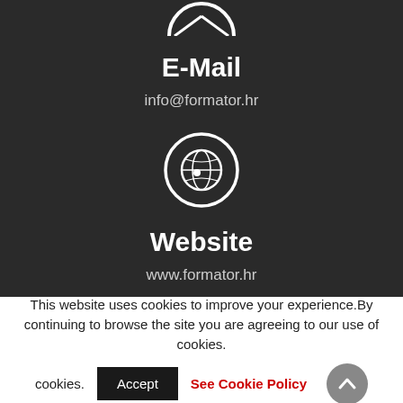[Figure (illustration): Partial white email envelope icon at top of dark section]
E-Mail
info@formator.hr
[Figure (illustration): Globe/website icon — white circle outline with globe symbol inside on dark background]
Website
www.formator.hr
This website uses cookies to improve your experience.By continuing to browse the site you are agreeing to our use of cookies.
Accept
See Cookie Policy